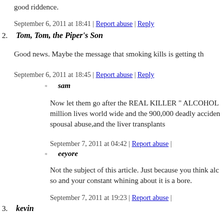good riddence.
September 6, 2011 at 18:41 | Report abuse | Reply
2. Tom, Tom, the Piper's Son
Good news. Maybe the message that smoking kills is getting th
September 6, 2011 at 18:45 | Report abuse | Reply
sam
Now let them go after the REAL KILLER " ALCOHOL million lives world wide and the 900,000 deadly acciden spousal abuse,and the liver transplants
September 7, 2011 at 04:42 | Report abuse |
eeyore
Not the subject of this article. Just because you think alc so and your constant whining about it is a bore.
September 7, 2011 at 19:23 | Report abuse |
3. kevin
i like your posts tom, good to see that not all of CNN commen the smoking adults vs. innocent children.